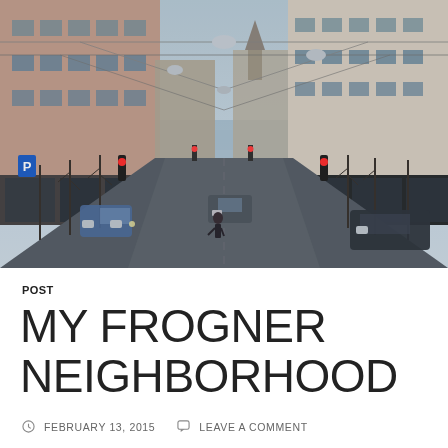[Figure (photo): A winter street scene in Frogner neighborhood, Oslo. The view is down a city street lined with European-style apartment buildings on both sides. Overhead tram wires cross the street. Trees without leaves stand along the sidewalks. Traffic lights glow red. Cars are parked along both sides. A person crosses the street in the middle distance. At the end of the street, a bay or fjord is visible in the cool blue haze.]
POST
MY FROGNER NEIGHBORHOOD
FEBRUARY 13, 2015    LEAVE A COMMENT